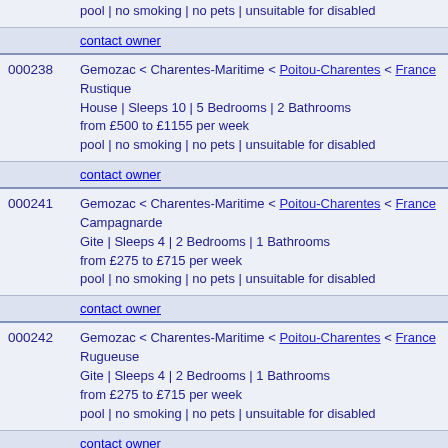pool | no smoking | no pets | unsuitable for disabled
contact owner
000238 Gemozac < Charentes-Maritime < Poitou-Charentes < France Rustique House | Sleeps 10 | 5 Bedrooms | 2 Bathrooms from £500 to £1155 per week pool | no smoking | no pets | unsuitable for disabled
contact owner
000241 Gemozac < Charentes-Maritime < Poitou-Charentes < France Campagnarde Gite | Sleeps 4 | 2 Bedrooms | 1 Bathrooms from £275 to £715 per week pool | no smoking | no pets | unsuitable for disabled
contact owner
000242 Gemozac < Charentes-Maritime < Poitou-Charentes < France Rugueuse Gite | Sleeps 4 | 2 Bedrooms | 1 Bathrooms from £275 to £715 per week pool | no smoking | no pets | unsuitable for disabled
contact owner